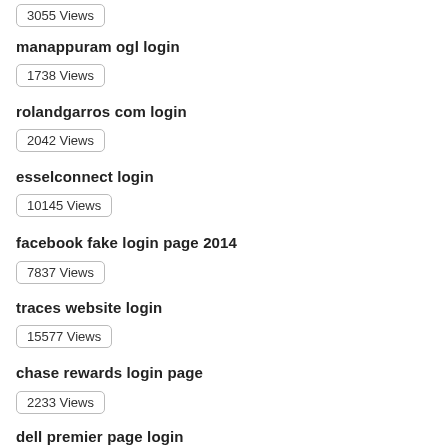3055 Views
manappuram ogl login
1738 Views
rolandgarros com login
2042 Views
esselconnect login
10145 Views
facebook fake login page 2014
7837 Views
traces website login
15577 Views
chase rewards login page
2233 Views
dell premier page login